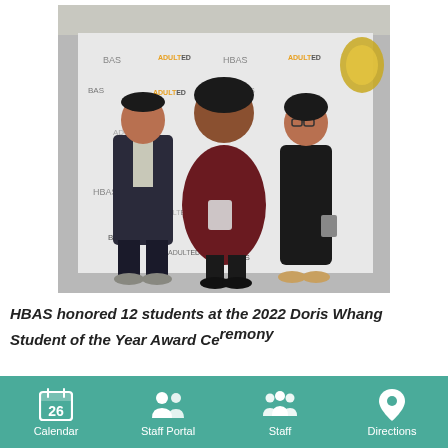[Figure (photo): Three people posing in front of a step-and-repeat backdrop with HBAS and AdultED logos. The person in the center wears a dark red top and holds an award plaque. The person on the left wears a dark suit, and the person on the right wears a black dress.]
HBAS honored 12 students at the 2022 Doris Whang Student of the Year Award Ceremony
Calendar | Staff Portal | Staff | Directions